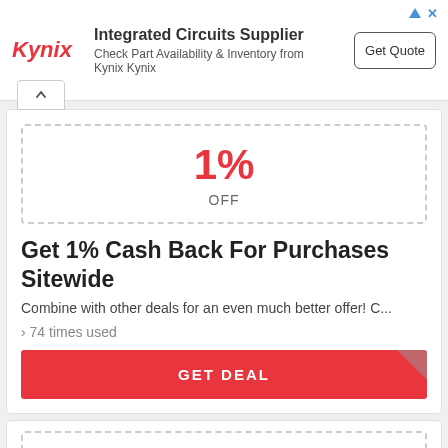[Figure (logo): Kynix Integrated Circuits Supplier ad banner with Kynix logo, description text, and Get Quote button]
1%
OFF
Get 1% Cash Back For Purchases Sitewide
Combine with other deals for an even much better offer! C...
› 74 times used
GET DEAL